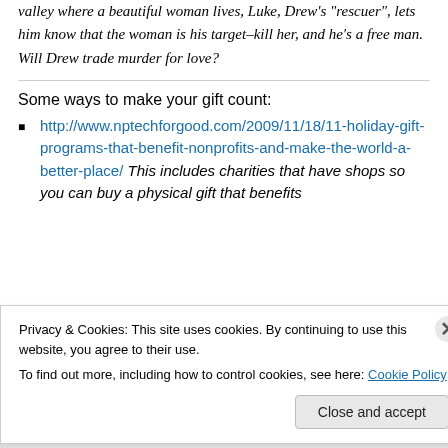valley where a beautiful woman lives, Luke, Drew's “rescuer”, lets him know that the woman is his target–kill her, and he's a free man. Will Drew trade murder for love?
Some ways to make your gift count:
http://www.nptechforgood.com/2009/11/18/11-holiday-gift-programs-that-benefit-nonprofits-and-make-the-world-a-better-place/ This includes charities that have shops so you can buy a physical gift that benefits
Privacy & Cookies: This site uses cookies. By continuing to use this website, you agree to their use. To find out more, including how to control cookies, see here: Cookie Policy
Close and accept